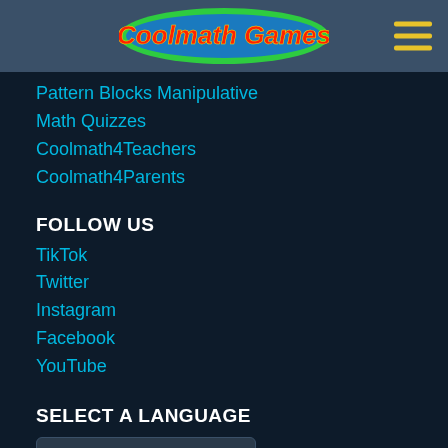Coolmath Games
Pattern Blocks Manipulative
Math Quizzes
Coolmath4Teachers
Coolmath4Parents
FOLLOW US
TikTok
Twitter
Instagram
Facebook
YouTube
SELECT A LANGUAGE
English
© 2022 Coolmath.com LLC. All Rights Reserved.